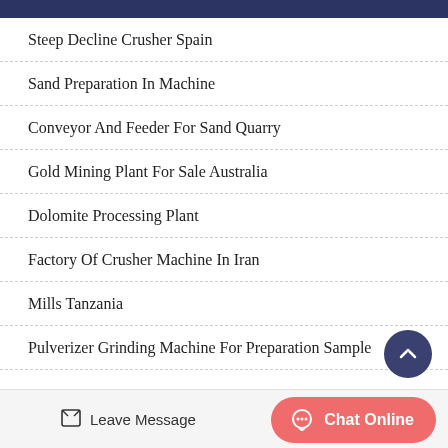Steep Decline Crusher Spain
Sand Preparation In Machine
Conveyor And Feeder For Sand Quarry
Gold Mining Plant For Sale Australia
Dolomite Processing Plant
Factory Of Crusher Machine In Iran
Mills Tanzania
Pulverizer Grinding Machine For Preparation Sample
Leave Message  Chat Online